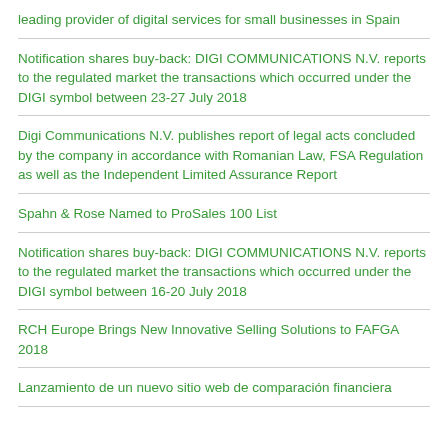leading provider of digital services for small businesses in Spain
Notification shares buy-back: DIGI COMMUNICATIONS N.V. reports to the regulated market the transactions which occurred under the DIGI symbol between 23-27 July 2018
Digi Communications N.V. publishes report of legal acts concluded by the company in accordance with Romanian Law, FSA Regulation as well as the Independent Limited Assurance Report
Spahn & Rose Named to ProSales 100 List
Notification shares buy-back: DIGI COMMUNICATIONS N.V. reports to the regulated market the transactions which occurred under the DIGI symbol between 16-20 July 2018
RCH Europe Brings New Innovative Selling Solutions to FAFGA 2018
Lanzamiento de un nuevo sitio web de comparación financiera